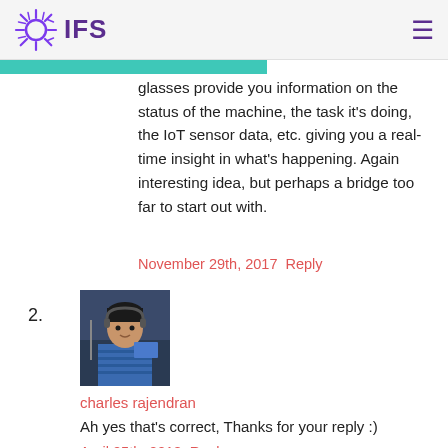IFS
glasses provide you information on the status of the machine, the task it's doing, the IoT sensor data, etc. giving you a real-time insight in what's happening. Again interesting idea, but perhaps a bridge too far to start out with.
November 29th, 2017 Reply
2.
[Figure (photo): Avatar photo of charles rajendran, a person sitting at a desk with a microphone]
charles rajendran
Ah yes that’s correct, Thanks for your reply :)
April 25th, 2018 Reply